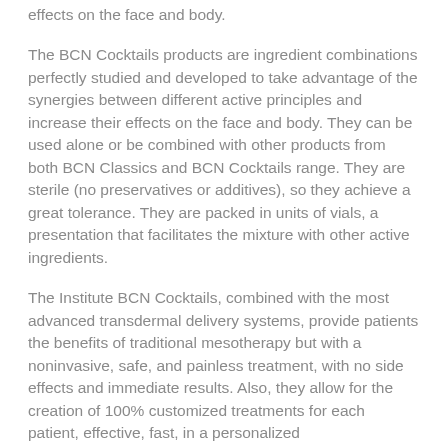effects on the face and body.
The BCN Cocktails products are ingredient combinations perfectly studied and developed to take advantage of the synergies between different active principles and increase their effects on the face and body. They can be used alone or be combined with other products from both BCN Classics and BCN Cocktails range. They are sterile (no preservatives or additives), so they achieve a great tolerance. They are packed in units of vials, a presentation that facilitates the mixture with other active ingredients.
The Institute BCN Cocktails, combined with the most advanced transdermal delivery systems, provide patients the benefits of traditional mesotherapy but with a noninvasive, safe, and painless treatment, with no side effects and immediate results. Also, they allow for the creation of 100% customized treatments for each patient, effective, fast, in a personalized...